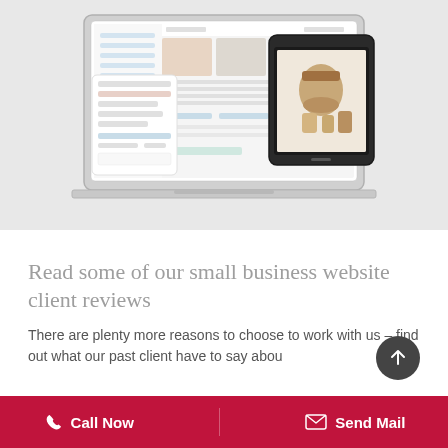[Figure (screenshot): A laptop and tablet device showing a website/admin interface with product images, overlapping mockup screenshots on a light grey background.]
Read some of our small business website client reviews
There are plenty more reasons to choose to work with us – find out what our past client have to say abou...
Call Now   Send Mail